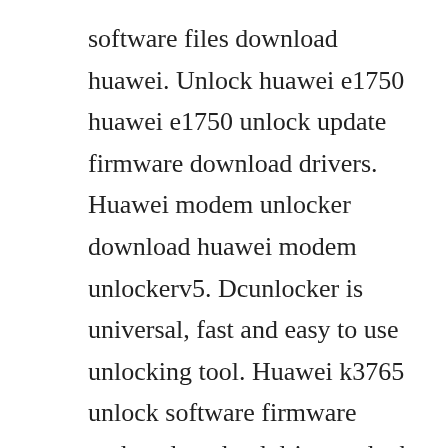software files download huawei. Unlock huawei e1750 huawei e1750 unlock update firmware download drivers. Huawei modem unlocker download huawei modem unlockerv5. Dcunlocker is universal, fast and easy to use unlocking tool. Huawei k3765 unlock software firmware update download driver unlock huawei k3765 download huawei k3765 dashboard windows download huawei k3765 dashboard mac download huawei k3765 driver. Nov 15, 2016 huawei mobile partner is a freeware software app filed under mobile phone tools and made available